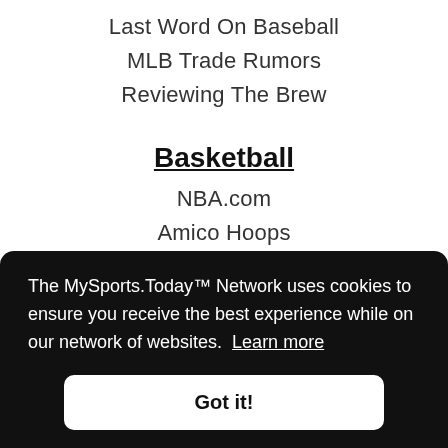Last Word On Baseball
MLB Trade Rumors
Reviewing The Brew
Basketball
NBA.com
Amico Hoops
Behind The Buck Pass
Brew Hoop
Hoops Hype
The MySports.Today™ Network uses cookies to ensure you receive the best experience while on our network of websites. Learn more
Got it!
Green Bay Packers